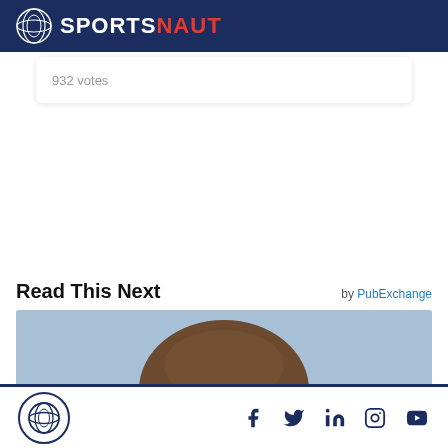SPORTSNAUT
932 votes
Read This Next
by PubExchange
[Figure (photo): Close-up photo of a person's head from forehead down, against a light blue sky background]
Sportsnaut footer with social media icons: Facebook, Twitter, LinkedIn, Instagram, YouTube